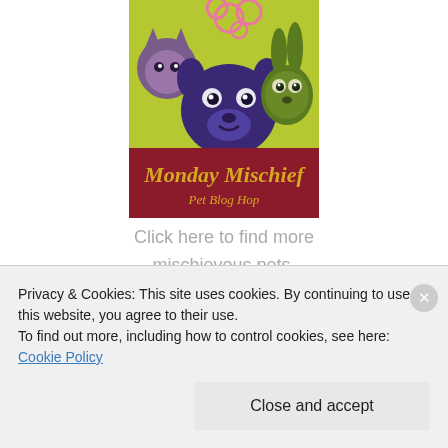[Figure (illustration): Monday Mischief Pet Blog Hop logo featuring cartoon animals (cat, dog, rabbit) on a lime green background with a dark red/maroon banner reading 'Monday Mischief Pet Blog Hop']
Click here to find more mischievous pets.
Welcome to Monday Mischief – The pet blog hop that wraps up the weekend! This Blog Hop is brought to you by Alfie's Blog, Snoopy's Dog Blog, My Brown
Privacy & Cookies: This site uses cookies. By continuing to use this website, you agree to their use.
To find out more, including how to control cookies, see here: Cookie Policy